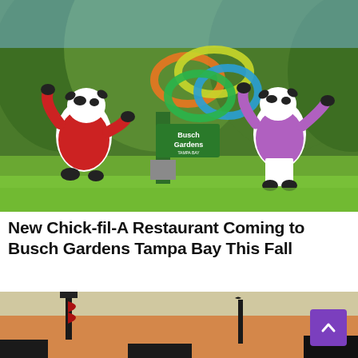[Figure (photo): Two Chick-fil-A cow mascots in costumes standing in front of the Busch Gardens Tampa Bay logo sign, surrounded by green tropical foliage and lawn.]
New Chick-fil-A Restaurant Coming to Busch Gardens Tampa Bay This Fall
[Figure (photo): Partial photo of what appears to be an outdoor scene at sunset/dusk with flags and structures silhouetted against an orange and pale yellow sky.]